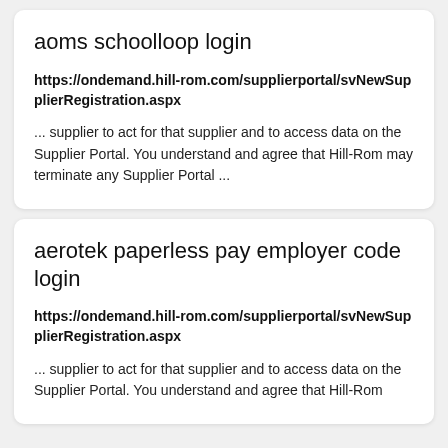aoms schoolloop login
https://ondemand.hill-rom.com/supplierportal/svNewSupplierRegistration.aspx
... supplier to act for that supplier and to access data on the Supplier Portal. You understand and agree that Hill-Rom may terminate any Supplier Portal ...
aerotek paperless pay employer code login
https://ondemand.hill-rom.com/supplierportal/svNewSupplierRegistration.aspx
... supplier to act for that supplier and to access data on the Supplier Portal. You understand and agree that Hill-Rom